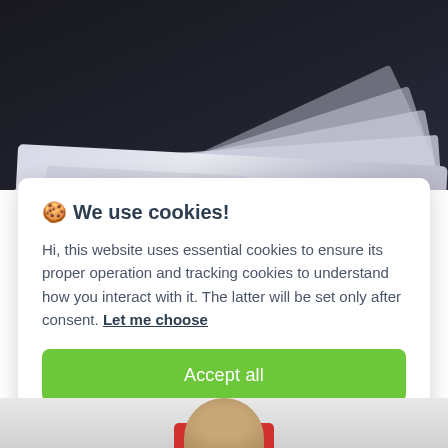[Figure (photo): Close-up photograph of Japanese 10000 yen banknotes fanned out on a dark background]
🍪 We use cookies!
Hi, this website uses essential cookies to ensure its proper operation and tracking cookies to understand how you interact with it. The latter will be set only after consent. Let me choose
Accept all
Reject all
[Figure (photo): Bottom portion showing a person in a red shirt partially visible at the bottom of the page]